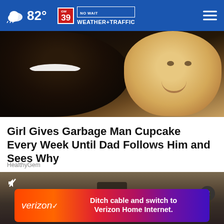82° CW39 NO WAIT WEATHER+TRAFFIC
[Figure (photo): A smiling man and a young blonde toddler child posing together for a photo]
Girl Gives Garbage Man Cupcake Every Week Until Dad Follows Him and Sees Why
HealthyGem
[Figure (screenshot): Video thumbnail showing a person behind bars with a mute icon overlay and an X close button]
[Figure (infographic): Verizon advertisement banner: Ditch cable and switch to Verizon Home Internet.]